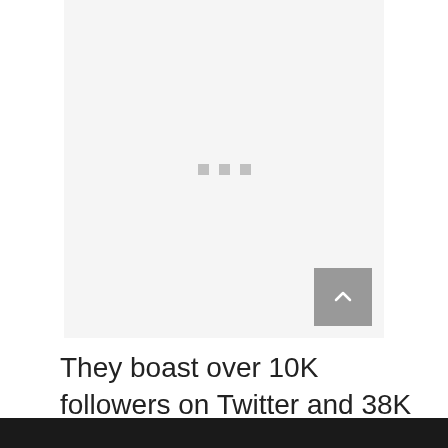[Figure (other): A light gray placeholder image area with three small gray squares/dots in the center, and a gray scroll-to-top button in the bottom-right corner with an upward chevron arrow.]
They boast over 10K followers on Twitter and 38K followers on Facebook.